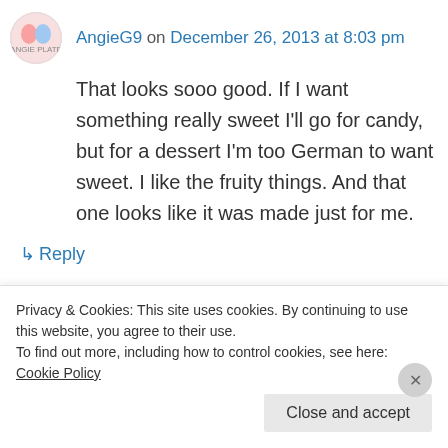AngieG9 on December 26, 2013 at 8:03 pm
That looks sooo good. If I want something really sweet I'll go for candy, but for a dessert I'm too German to want sweet. I like the fruity things. And that one looks like it was made just for me.
↳ Reply
Allison (Spontaneous Tomato) on January 2, 2014 at 8:55 am
Privacy & Cookies: This site uses cookies. By continuing to use this website, you agree to their use. To find out more, including how to control cookies, see here: Cookie Policy
Close and accept